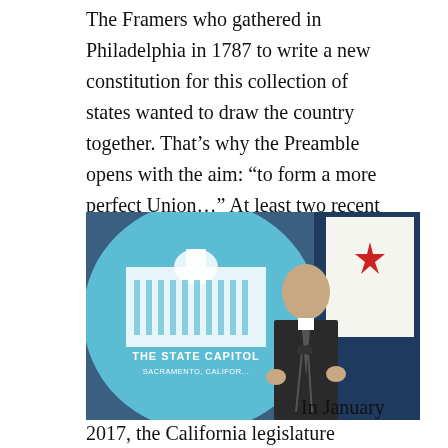The Framers who gathered in Philadelphia in 1787 to write a new constitution for this collection of states wanted to draw the country together. That’s why the Preamble opens with the aim: “to form a more perfect Union…” At least two recent events, however, suggest that the union might be unraveling.
[Figure (photo): A man in a dark suit speaking at a podium in front of a State Capitol Sacramento California seal backdrop with a California state flag visible to the right.]
In January 2017, the California legislature banned state employees from using public funds to travel to states